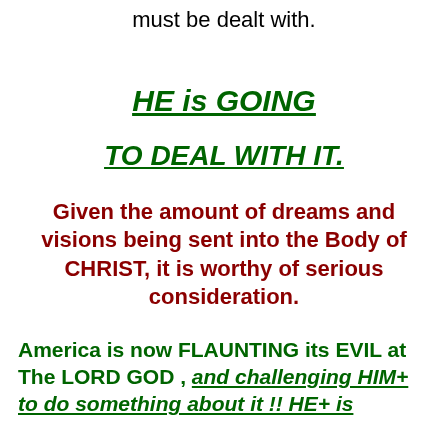must be dealt with.
HE is GOING
TO DEAL WITH IT.
Given the amount of dreams and visions being sent into the Body of CHRIST, it is worthy of serious consideration.
America is now FLAUNTING its EVIL at The LORD GOD , and challenging HIM+ to do something about it !!  HE+ is